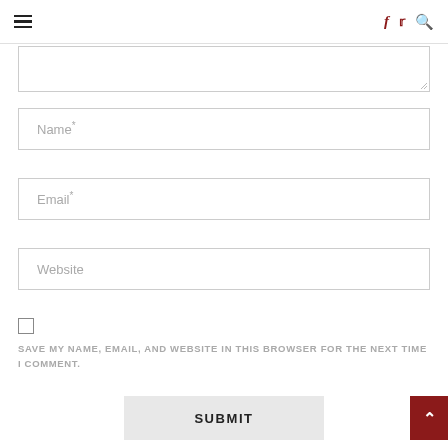≡  f  🐦  🔍
[Figure (screenshot): Partially visible textarea/comment input box at top of form, with resize handle in bottom-right corner]
Name*
Email*
Website
SAVE MY NAME, EMAIL, AND WEBSITE IN THIS BROWSER FOR THE NEXT TIME I COMMENT.
SUBMIT